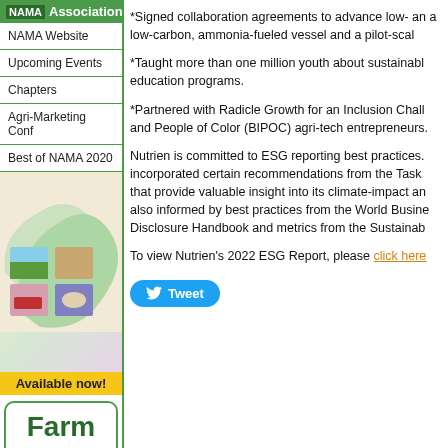NAMA Association
NAMA Website
Upcoming Events
Chapters
Agri-Marketing Conf
Best of NAMA 2020
[Figure (illustration): ProSelling book cover with green circular graphic and agricultural imagery. 'Available now!' banner below.]
[Figure (illustration): Farm Show Guide advertisement with green text on white background with green border.]
*Signed collaboration agreements to advance low- and a low-carbon, ammonia-fueled vessel and a pilot-scale
*Taught more than one million youth about sustainable education programs.
*Partnered with Radicle Growth for an Inclusion Challenge and People of Color (BIPOC) agri-tech entrepreneurs.
Nutrien is committed to ESG reporting best practices. incorporated certain recommendations from the Task that provide valuable insight into its climate-impact and also informed by best practices from the World Business Disclosure Handbook and metrics from the Sustainable
To view Nutrien's 2022 ESG Report, please click here